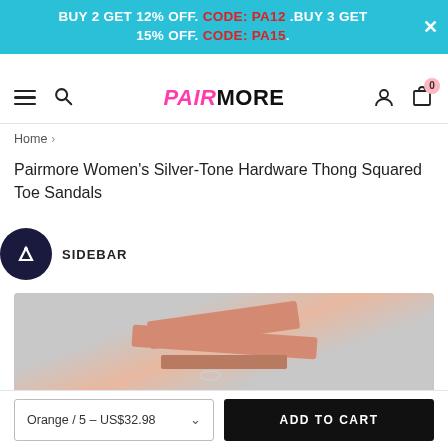BUY 2 GET 12% OFF. CODE: PA12 .BUY 3 GET 15% OFF. CODE: PA15.
[Figure (screenshot): Pairmore e-commerce website navigation bar with hamburger menu, search icon, Pairmore logo (pink and black), user icon, and cart icon with badge showing 0]
Home > Pairmore Women's Silver-Tone Hardware Thong Squared Toe Sandals
Pairmore Women's Silver-Tone Hardware Thong Squared Toe Sandals
SIDEBAR
[Figure (photo): Product image showing orange thong sandals with silver-tone hardware on a light background]
Orange / 5 – US$32.98
ADD TO CART